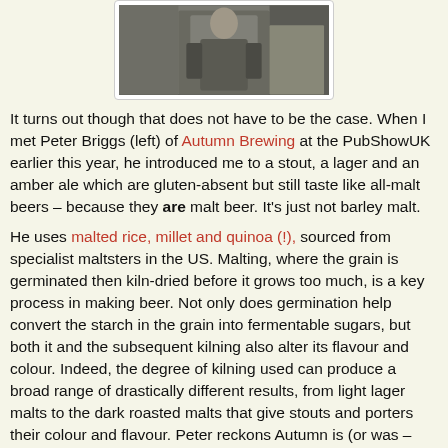[Figure (photo): Partial photo of a person (Peter Briggs), torso visible, appears to be at an event]
It turns out though that does not have to be the case. When I met Peter Briggs (left) of Autumn Brewing at the PubShowUK earlier this year, he introduced me to a stout, a lager and an amber ale which are gluten-absent but still taste like all-malt beers – because they are malt beer. It's just not barley malt.
He uses malted rice, millet and quinoa (!), sourced from specialist maltsters in the US. Malting, where the grain is germinated then kiln-dried before it grows too much, is a key process in making beer. Not only does germination help convert the starch in the grain into fermentable sugars, but both it and the subsequent kilning also alter its flavour and colour. Indeed, the degree of kilning used can produce a broad range of drastically different results, from light lager malts to the dark roasted malts that give stouts and porters their colour and flavour. Peter reckons Autumn is (or was – who knows!) the first brewer in Europe to import these malts and brew with them.